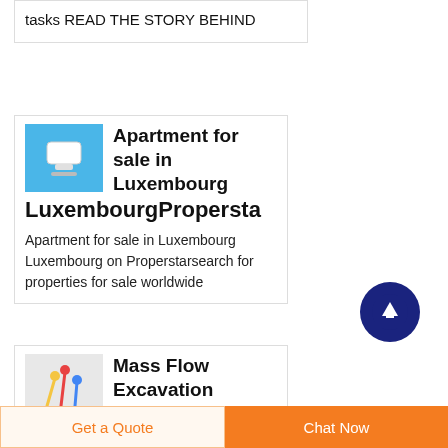tasks READ THE STORY BEHIND
[Figure (illustration): Small thumbnail image of an apartment/property listing (blue background with a white device/remote icon)]
Apartment for sale in Luxembourg LuxembourgPropersta
Apartment for sale in Luxembourg Luxembourg on Properstarsearch for properties for sale worldwide
[Figure (illustration): Small thumbnail image with colorful arrow/marker icons on light gray background]
Mass Flow Excavation
[Figure (other): Dark navy blue circular scroll-to-top button with white upward arrow icon]
Get a Quote
Chat Now